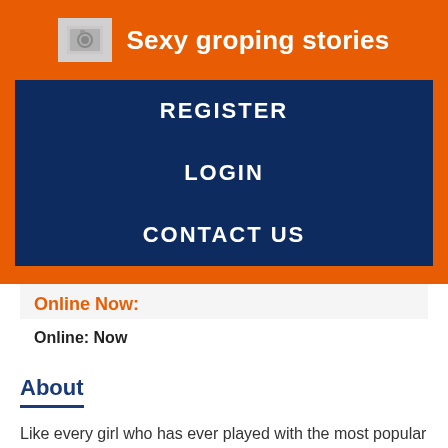Sexy groping stories
REGISTER
LOGIN
CONTACT US
Online Now:
Online: Now
About
Like every girl who has ever played with the most popular toy in history, I yank her clothes off and try to